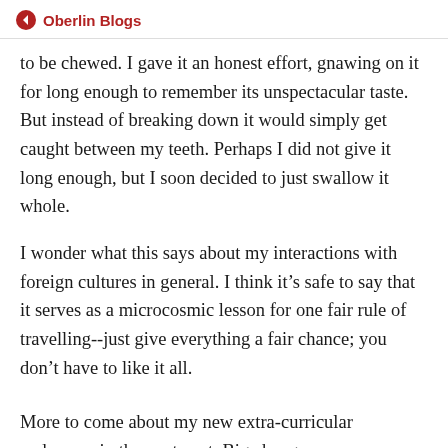Oberlin Blogs
to be chewed. I gave it an honest effort, gnawing on it for long enough to remember its unspectacular taste. But instead of breaking down it would simply get caught between my teeth. Perhaps I did not give it long enough, but I soon decided to just swallow it whole.
I wonder what this says about my interactions with foreign cultures in general. I think it’s safe to say that it serves as a microcosmic lesson for one fair rule of travelling--just give everything a fair chance; you don’t have to like it all.
More to come about my new extra-curricular endeavors in the next post. Big changes are